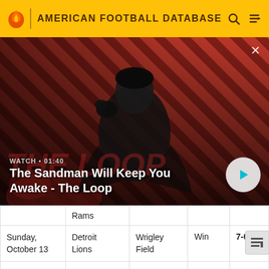AMERICAN FOOTBALL DATABASE
[Figure (screenshot): Video banner for 'The Sandman Will Keep You Awake - The Loop' showing a dark figure with a raven on their shoulder against a red diagonal striped background. Duration shown: WATCH • 01:40. Play button visible on right.]
| Date | Opponent | Venue | Result | Score |
| --- | --- | --- | --- | --- |
|  | Rams |  |  |  |
| Sunday, October 13 | Detroit Lions | Wrigley Field | Win | 7-0 |
| Sunday, October 20 | Brooklyn Dodgers | Wrigley Field | Win | 16-7 |